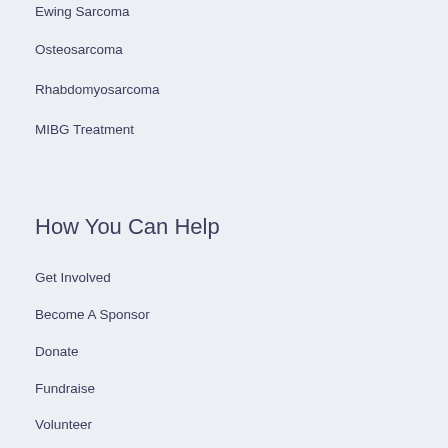Ewing Sarcoma
Osteosarcoma
Rhabdomyosarcoma
MIBG Treatment
How You Can Help
Get Involved
Become A Sponsor
Donate
Fundraise
Volunteer